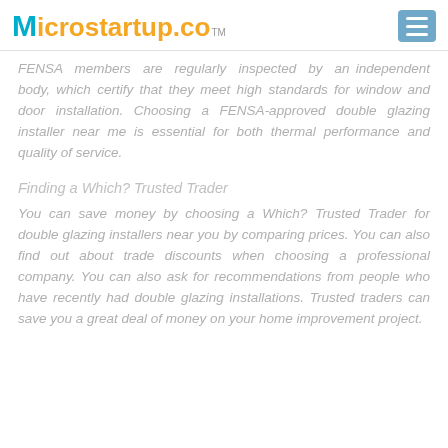Microstartup.co™
FENSA members are regularly inspected by an independent body, which certify that they meet high standards for window and door installation. Choosing a FENSA-approved double glazing installer near me is essential for both thermal performance and quality of service.
Finding a Which? Trusted Trader
You can save money by choosing a Which? Trusted Trader for double glazing installers near you by comparing prices. You can also find out about trade discounts when choosing a professional company. You can also ask for recommendations from people who have recently had double glazing installations. Trusted traders can save you a great deal of money on your home improvement project.